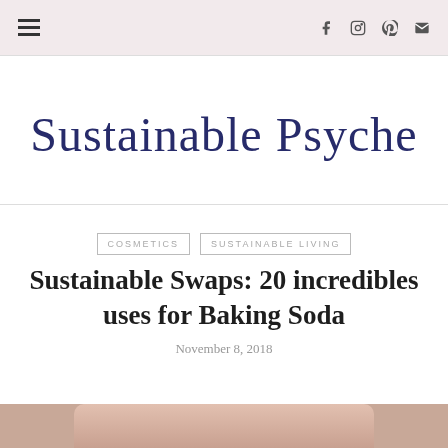≡  f  [instagram]  [pinterest]  [email]
[Figure (logo): Sustainable Psyche blog logo in cursive script, dark navy blue text]
COSMETICS   SUSTAINABLE LIVING
Sustainable Swaps: 20 incredibles uses for Baking Soda
November 8, 2018
[Figure (photo): Partial view of a photo at the bottom of the page, warm peachy/pink tones, appears to show a bowl or dish]